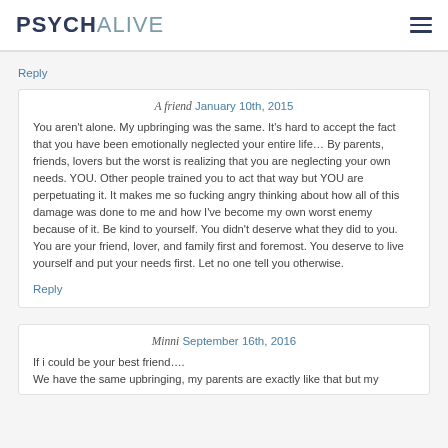PSYCHALIVE
Reply
A friend January 10th, 2015
You aren't alone. My upbringing was the same. It's hard to accept the fact that you have been emotionally neglected your entire life… By parents, friends, lovers but the worst is realizing that you are neglecting your own needs. YOU. Other people trained you to act that way but YOU are perpetuating it. It makes me so fucking angry thinking about how all of this damage was done to me and how I've become my own worst enemy because of it. Be kind to yourself. You didn't deserve what they did to you. You are your friend, lover, and family first and foremost. You deserve to live yourself and put your needs first. Let no one tell you otherwise.
Reply
Minni September 16th, 2016
If i could be your best friend….
We have the same upbringing, my parents are exactly like that but my